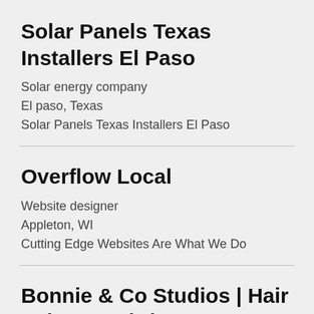Solar Panels Texas Installers El Paso
Solar energy company
El paso, Texas
Solar Panels Texas Installers El Paso
Overflow Local
Website designer
Appleton, WI
Cutting Edge Websites Are What We Do
Bonnie & Co Studios | Hair Salon – Hairdressers –